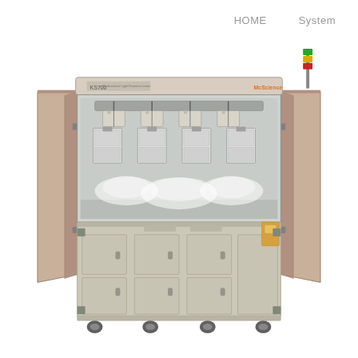HOME    System
[Figure (photo): Front view of an industrial laboratory cleaning or testing machine (model KS700 by McScience) with open doors revealing internal spray nozzles and sample holders, beige/cream colored cabinet with lower storage compartments and caster wheels.]